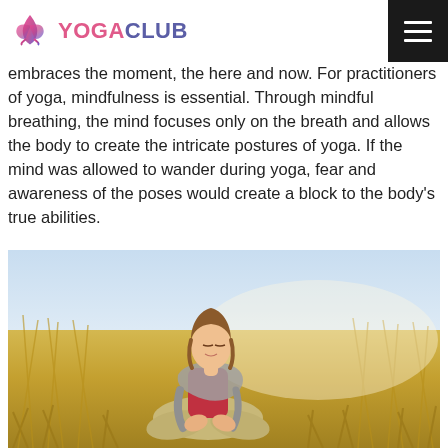YOGACLUB
embraces the moment, the here and now. For practitioners of yoga, mindfulness is essential. Through mindful breathing, the mind focuses only on the breath and allows the body to create the intricate postures of yoga. If the mind was allowed to wander during yoga, fear and awareness of the poses would create a block to the body's true abilities.
[Figure (photo): A woman with long brown hair, wearing a red long-sleeve shirt, grey knit scarf, and khaki pants, sitting in a lotus meditation pose in an outdoor field of tall golden grass.]